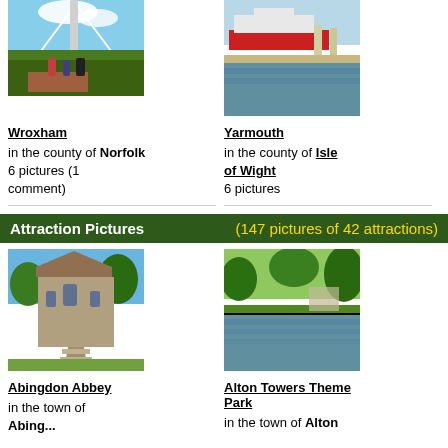[Figure (photo): Photo of Wroxham bridge area with people and suspension bridge]
[Figure (photo): Photo of Yarmouth harbour with a ferry/boat docked]
Wroxham
Yarmouth
in the county of Norfolk
6 pictures (1 comment)
in the county of Isle of Wight
6 pictures
Attraction Pictures (147 pictures of 42 attractions)
[Figure (photo): Photo of Abingdon Abbey stone building with steps and sunny sky]
[Figure (photo): Photo of Alton Towers Theme Park with pond/lake and trees]
Abingdon Abbey
Alton Towers Theme Park
in the town of Abingdon in th...
in the town of Alton...